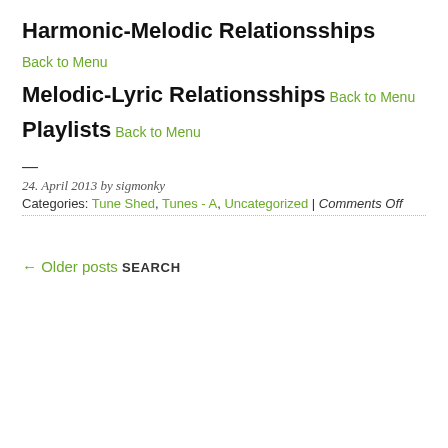Harmonic-Melodic Relationsships
Back to Menu
Melodic-Lyric Relationsships
Back to Menu
Playlists
Back to Menu
—
24. April 2013 by sigmonky
Categories: Tune Shed, Tunes - A, Uncategorized | Comments Off
← Older posts
SEARCH